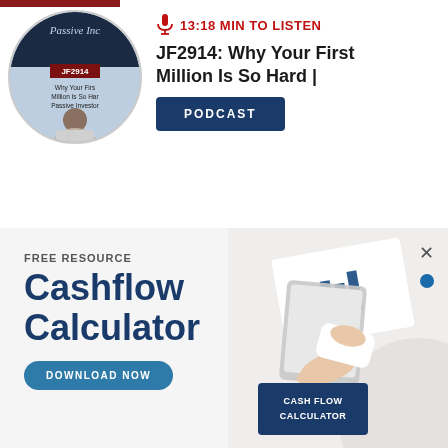[Figure (illustration): Circular podcast cover image showing a man in a light jacket, overlay text reading Passive Income JF2914 Why Your First Million Is So Hard Passive Investor]
🎙 13:18 MIN TO LISTEN
JF2914: Why Your First Million Is So Hard |
PODCAST
FREE RESOURCE
Cashflow Calculator
DOWNLOAD NOW
[Figure (photo): Hands using tablet with financial charts displayed, alongside a dark blue card labeled CASH FLOW CALCULATOR]